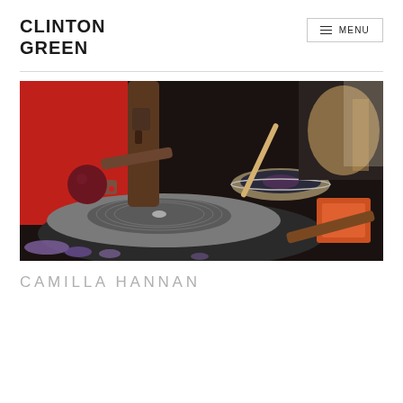CLINTON GREEN
≡ MENU
[Figure (photo): Close-up photo of a vinyl record player/turntable with tonearm, a dark red ball, a singing bowl with a mallet, orange and brown objects, and purple flowers on a dark surface.]
CAMILLA HANNAN